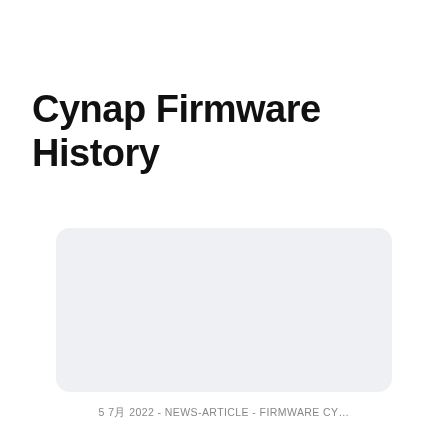Cynap Firmware History
[Figure (other): Light grey rounded rectangle card placeholder area]
5 7月 2022 - NEWS-ARTICLE - FIRMWARE CY...